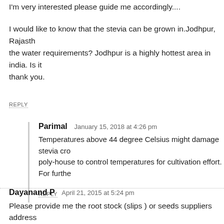I'm very interested please guide me accordingly....
I would like to know that the stevia can be grown in.Jodhpur, Rajasthan and what are the water requirements? Jodhpur is a highly hottest area in india. Is it possible? thank you.
REPLY
Parimal   January 15, 2018 at 4:26 pm
Temperatures above 44 degree Celsius might damage stevia crop. You can use poly-house to control temperatures for cultivation effort. For furthe…
REPLY
Dayanand P   April 21, 2015 at 5:24 pm
Please provide me the root stock (slips ) or seeds suppliers address
REPLY